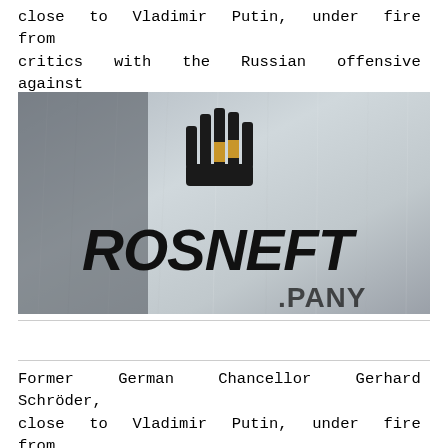close to Vladimir Putin, under fire from critics with the Russian offensive against Ukraine, will finally...
[Figure (photo): Photograph of the Rosneft company sign — metallic surface with the ROSNEFT logo in bold black letters and the company's hand-shaped icon in black and gold above. The word 'COMPANY' is partially visible at the bottom right.]
Former German Chancellor Gerhard Schröder, close to Vladimir Putin, under fire from critics with the Russian offensive against Ukraine, will finally leave the board of